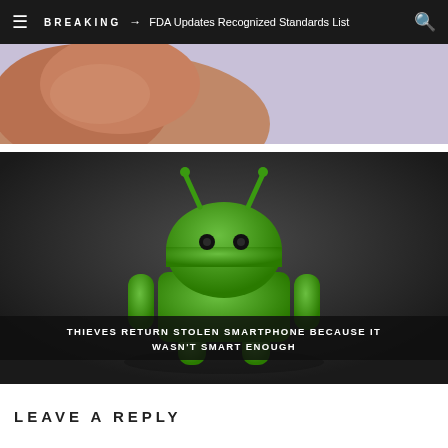≡  BREAKING → FDA Updates Recognized Standards List  🔍
[Figure (photo): Partial top image strip showing a finger and light purple background]
[Figure (photo): Android robot mascot (green 3D figurine) on dark gray gradient background with title overlay: THIEVES RETURN STOLEN SMARTPHONE BECAUSE IT WASN'T SMART ENOUGH]
THIEVES RETURN STOLEN SMARTPHONE BECAUSE IT WASN'T SMART ENOUGH
LEAVE A REPLY